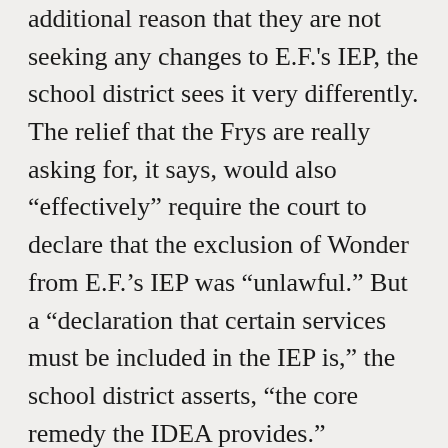additional reason that they are not seeking any changes to E.F.'s IEP, the school district sees it very differently. The relief that the Frys are really asking for, it says, would also “effectively” require the court to declare that the exclusion of Wonder from E.F.’s IEP was “unlawful.” But a “declaration that certain services must be included in the IEP is,” the school district asserts, “the core remedy the IDEA provides.”
Both sides claim that their interpretation is also more consistent with Congress’ purpose in including the exhaustion requirement in the Handicapped Children’s Protection Act. Allowing families to circumvent that requirement just by asking for a federal court for “damages,” the school district argues, would be contrary to Congress’ intent that “parents and school administrators, not generalist courts, have the principal role in resolving disputes